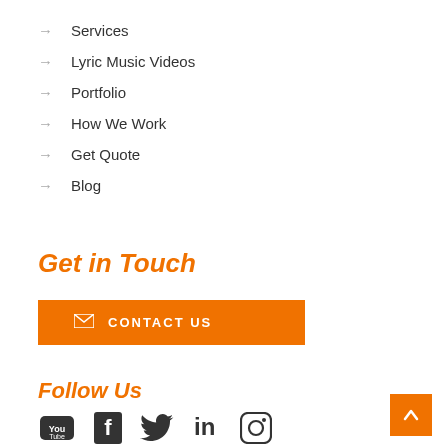→ Services
→ Lyric Music Videos
→ Portfolio
→ How We Work
→ Get Quote
→ Blog
Get in Touch
CONTACT US
Follow Us
[Figure (infographic): Social media icons: YouTube, Facebook, Twitter, LinkedIn, Instagram]